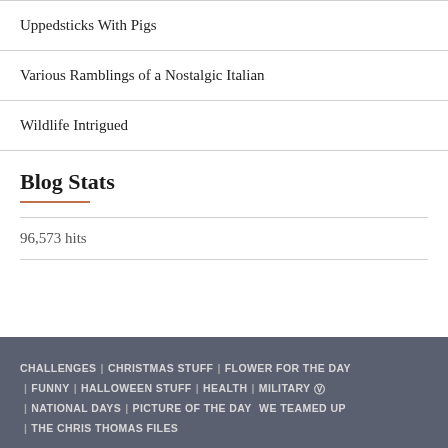Uppedsticks With Pigs
Various Ramblings of a Nostalgic Italian
Wildlife Intrigued
Blog Stats
96,573 hits
CHALLENGES | CHRISTMAS STUFF | FLOWER FOR THE DAY | FUNNY | HALLOWEEN STUFF | HEALTH | MILITARY | NATIONAL DAYS | PICTURE OF THE DAY | THE CHRIS THOMAS FILES WE TEAMED UP